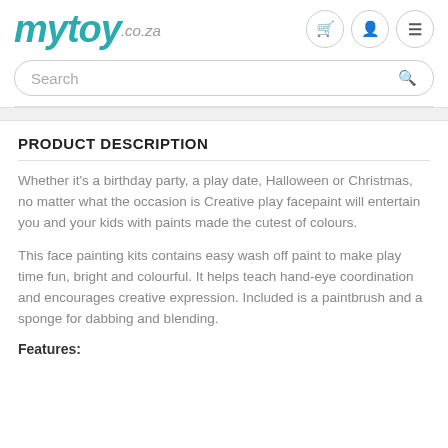[Figure (logo): mytoy.co.za logo in teal/green color]
Search
PRODUCT DESCRIPTION
Whether it's a birthday party, a play date, Halloween or Christmas, no matter what the occasion is Creative play facepaint will entertain you and your kids with paints made the cutest of colours.
This face painting kits contains easy wash off paint to make play time fun, bright and colourful. It helps teach hand-eye coordination and encourages creative expression. Included is a paintbrush and a sponge for dabbing and blending.
Features: